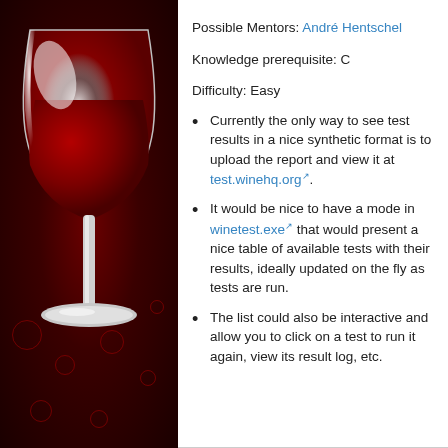[Figure (illustration): Wine HQ logo - a red wine glass on a dark red background with decorative circular patterns]
Possible Mentors: André Hentschel
Knowledge prerequisite: C
Difficulty: Easy
Currently the only way to see test results in a nice synthetic format is to upload the report and view it at test.winehq.org.
It would be nice to have a mode in winetest.exe that would present a nice table of available tests with their results, ideally updated on the fly as tests are run.
The list could also be interactive and allow you to click on a test to run it again, view its result log, etc.